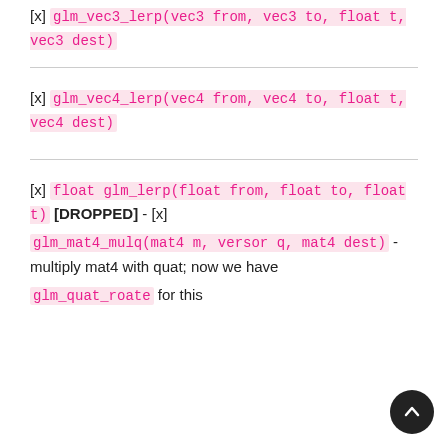[x] glm_vec3_lerp(vec3 from, vec3 to, float t, vec3 dest)
[x] glm_vec4_lerp(vec4 from, vec4 to, float t, vec4 dest)
[x] float glm_lerp(float from, float to, float t) [DROPPED] - [x] glm_mat4_mulq(mat4 m, versor q, mat4 dest) - multiply mat4 with quat; now we have glm_quat_roate for this